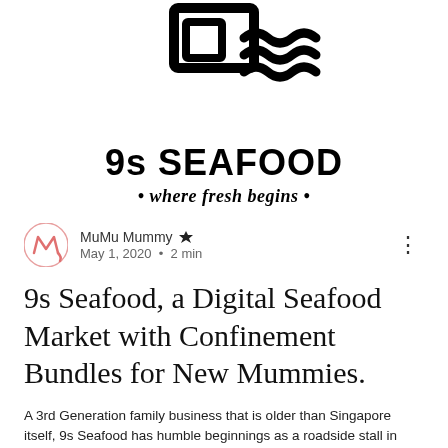[Figure (logo): 9s Seafood logo: stylized bowl with steam waves icon above the brand name '9s SEAFOOD' and tagline '• where fresh begins •']
MuMu Mummy 👑 May 1, 2020 · 2 min
9s Seafood, a Digital Seafood Market with Confinement Bundles for New Mummies.
A 3rd Generation family business that is older than Singapore itself, 9s Seafood has humble beginnings as a roadside stall in Chinatown.